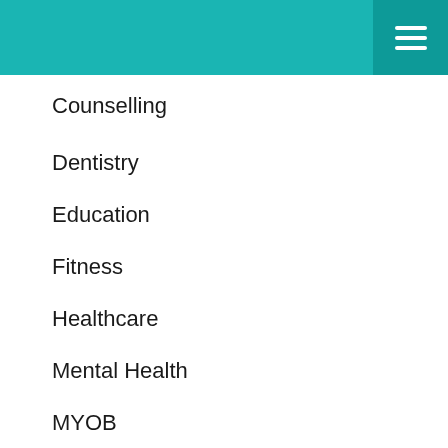Counselling
Dentistry
Education
Fitness
Healthcare
Mental Health
MYOB
Nutrition
Small Business Management
View More